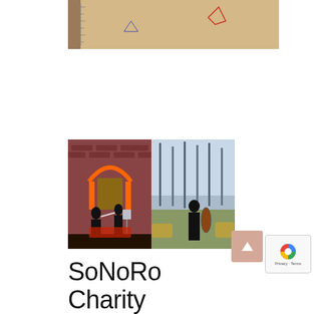[Figure (photo): Close-up photo of a surface with pencil/chalk markings and symbols on what appears to be a sandy or papery texture, with a ruler or straight edge visible on the left side]
[Figure (photo): Two photos side by side: left shows musicians performing classical music in front of a brick building with an orange arch; right shows a cellist performing outdoors among trees]
SoNoRo Charity